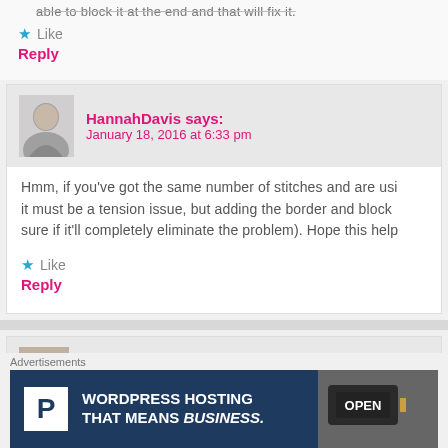able to block it at the end and that will fix it.
Like
Reply
HannahDavis says: January 18, 2016 at 6:33 pm
Hmm, if you've got the same number of stitches and are using it must be a tension issue, but adding the border and block sure if it'll completely eliminate the problem). Hope this help
Like
Reply
Kecia Whitehead says: January 24, 2016 at 5:35 pm
Advertisements
[Figure (screenshot): WordPress Hosting That Means Business advertisement banner with P logo and an OPEN sign photo]